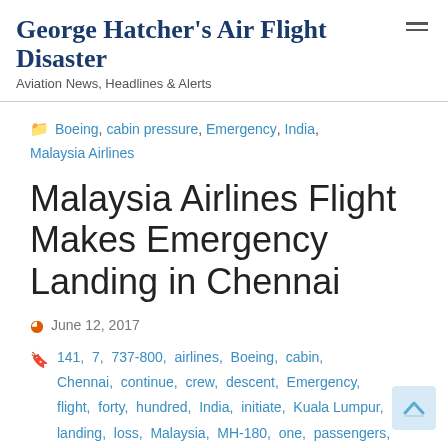George Hatcher's Air Flight Disaster — Aviation News, Headlines & Alerts
Boeing, cabin pressure, Emergency, India, Malaysia Airlines
Malaysia Airlines Flight Makes Emergency Landing in Chennai
June 12, 2017
141, 7, 737-800, airlines, Boeing, cabin, Chennai, continue, crew, descent, Emergency, flight, forty, hundred, India, initiate, Kuala Lumpur, landing, loss, Malaysia, MH-180, one, passengers, pressure, safe, seven